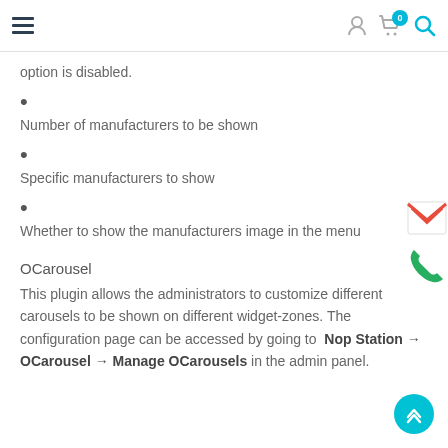Navigation header with hamburger menu, user icon, cart (0), and search icon
option is disabled.
Number of manufacturers to be shown
Specific manufacturers to show
Whether to show the manufacturers image in the menu
OCarousel
This plugin allows the administrators to customize different carousels to be shown on different widget-zones. The configuration page can be accessed by going to Nop Station → OCarousel → Manage OCarousels in the admin panel.